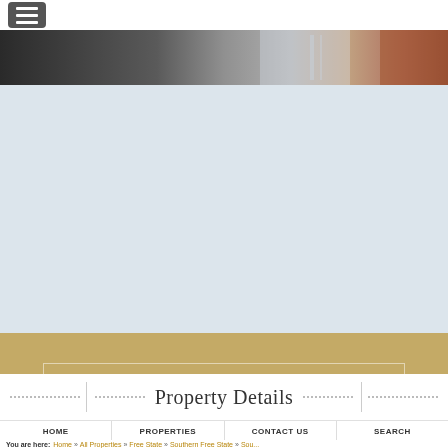[Figure (screenshot): Hamburger/menu icon button in grey rounded rectangle at top left]
[Figure (photo): Partial view of property interior photo strip — dark and light tones suggesting a room interior]
[Figure (other): Large light blue-grey area below photo, part of a slider or banner]
FIND PROPERTIES
Property Details
HOME   PROPERTIES   CONTACT US   SEARCH
You are here: Home » All Properties » Free State » Southern Free State »